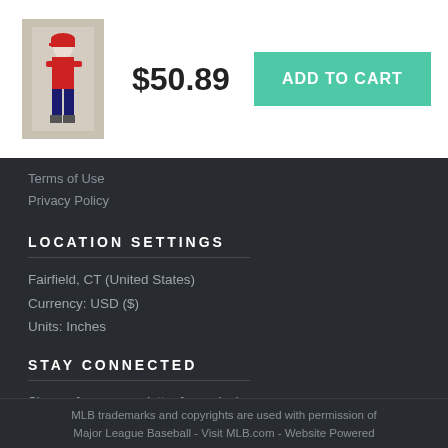[Figure (photo): Baseball player product thumbnail image]
$50.89
ADD TO CART
Terms of Use
Privacy Policy
LOCATION SETTINGS
Fairfield, CT (United States)
Currency: USD ($)
Units: Inches
STAY CONNECTED
Sign up for our newsletter for exclusive deals, discount codes, and more.
[Figure (infographic): Social media icons: Facebook, Twitter, Instagram, Pinterest, YouTube]
MLB trademarks and copyrights are used with permission of Major League Baseball - Visit MLB.com - Website Powered